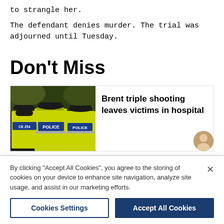to strangle her.
The defendant denies murder. The trial was adjourned until Tuesday.
Don't Miss
[Figure (photo): Police officers in high-visibility yellow jackets viewed from behind, with 'POLICE' text visible on one jacket]
Brent triple shooting leaves victims in hospital
By clicking "Accept All Cookies", you agree to the storing of cookies on your device to enhance site navigation, analyze site usage, and assist in our marketing efforts.
Cookies Settings
Accept All Cookies